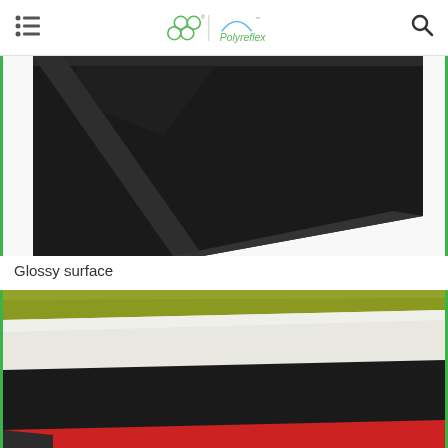Polyreflex
[Figure (photo): Close-up photo of a black glossy sheet/panel showing the corner edge detail against a white background, with a green border on left and right sides.]
Glossy surface
[Figure (photo): Photo showing stacked layered sheets/panels in olive/yellow-green, white/frosted, and black/dark colors with a red visible edge, showing a corner perspective view. Green border on left and right sides.]